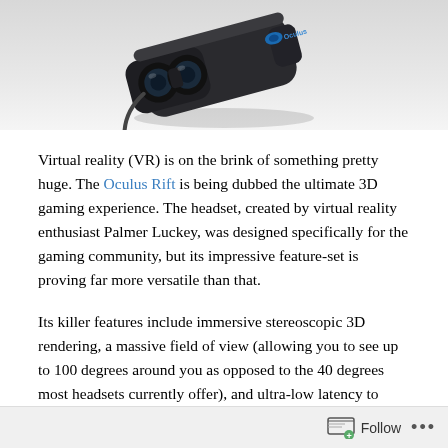[Figure (photo): Oculus Rift VR headset, black device with Oculus logo, photographed against a light gray gradient background]
Virtual reality (VR) is on the brink of something pretty huge. The Oculus Rift is being dubbed the ultimate 3D gaming experience. The headset, created by virtual reality enthusiast Palmer Luckey, was designed specifically for the gaming community, but its impressive feature-set is proving far more versatile than that.
Its killer features include immersive stereoscopic 3D rendering, a massive field of view (allowing you to see up to 100 degrees around you as opposed to the 40 degrees most headsets currently offer), and ultra-low latency to
Follow ...